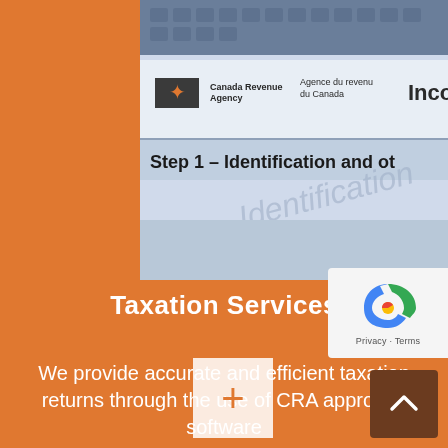[Figure (photo): Close-up photo of a Canada Revenue Agency income tax form showing 'Canada Revenue Agency / Agence du revenu du Canada' header, 'Inco...' text, and 'Step 1 – Identification and ot...' section label, with blue-tinted appearance.]
Taxation Services
We provide accurate and efficient taxation returns through the use of CRA approved software